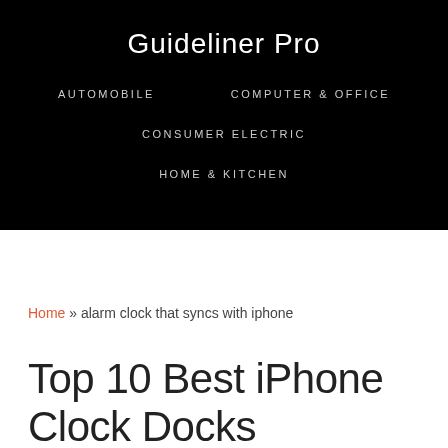Guideliner Pro
AUTOMOBILE
COMPUTER & OFFICE
CONSUMER ELECTRIC
HOME & KITCHEN
Home » alarm clock that syncs with iphone
Top 10 Best iPhone Clock Docks